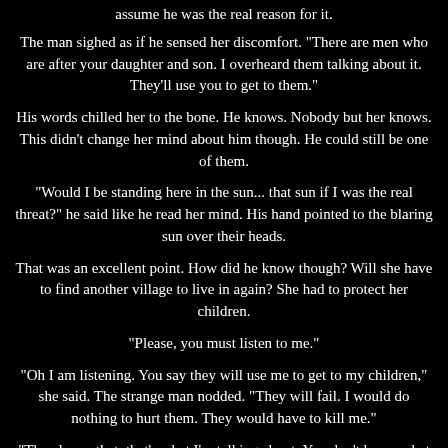assume he was the real reason for it.
The man sighed as if he sensed her discomfort. "There are men who are after your daughter and son. I overheard them talking about it. They'll use you to get to them."
His words chilled her to the bone. He knows. Nobody but her knows. This didn't change her mind about him though. He could still be one of them.
"Would I be standing here in the sun... that sun if I was the real threat?" he said like he read her mind. His hand pointed to the blaring sun over their heads.
That was an excellent point. How did he know though? Will she have to find another village to live in again? She had to protect her children.
"Please, you must listen to me."
"Oh I am listening. You say they will use me to get to my children," she said. The strange man nodded. "They will fail. I would do nothing to hurt them. They would have to kill me."
"They know that, that's what I'm talking about. You don't know what they're capable of."
"I do." She heard all the stories. Not all of them could be true though. "Even if they destroy my soul, my body could never harm them."
He was annoyed now, his fists were clenched. His strange pale skin turned red around his cheeks. "You know nothing. Once your soul is gone they